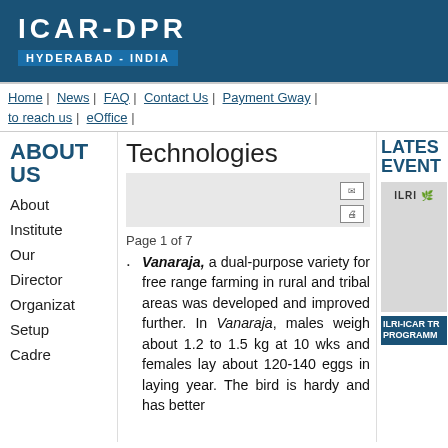ICAR-DPR
HYDERABAD - INDIA
Home | News | FAQ | Contact Us | Payment Gway | to reach us | eOffice |
ABOUT US
Technologies
Page 1 of 7
Vanaraja, a dual-purpose variety for free range farming in rural and tribal areas was developed and improved further. In Vanaraja, males weigh about 1.2 to 1.5 kg at 10 wks and females lay about 120-140 eggs in laying year. The bird is hardy and has better
About
Institute
Our
Director
Organizat
Setup
Cadre
LATEST EVENTS
ILRI-ICAR TR PROGRAMM